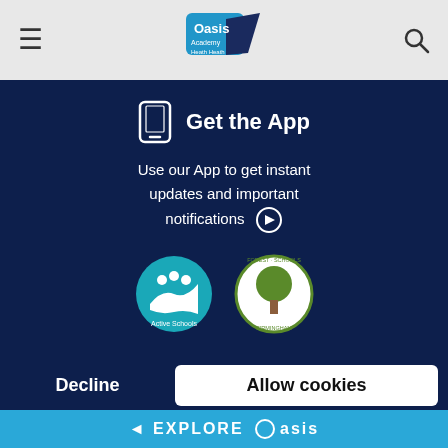Oasis Academy Heath Heath
[Figure (screenshot): Mobile phone icon and Get the App text with description: Use our App to get instant updates and important notifications]
[Figure (logo): Active Schools logo (teal circle with people figures)]
[Figure (logo): Forest Schools Birmingham logo (green circle with tree)]
We use cookies on this site to enhance your user experience. By using our site, you agree to our use of cookies. Learn more
Decline
Allow cookies
◄ EXPLORE Oasis